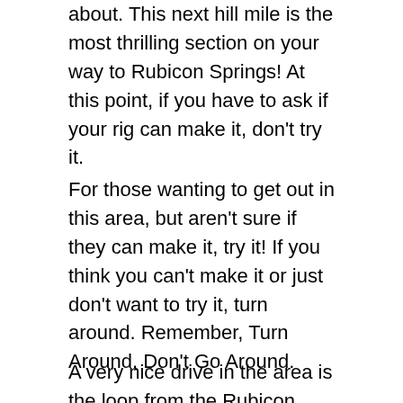about. This next hill mile is the most thrilling section on your way to Rubicon Springs! At this point, if you have to ask if your rig can make it, don't try it.
For those wanting to get out in this area, but aren't sure if they can make it, try it! If you think you can't make it or just don't want to try it, turn around. Remember, Turn Around, Don't Go Around.
A very nice drive in the area is the loop from the Rubicon Trail staging area up and around to Barker Pass. The trail gets easier as you get further away from the Rubicon Trail. I have yet to run that road this season, so I can't be 100% sure of that.
The Hobbit Trail (16E76) has the difficulty of the